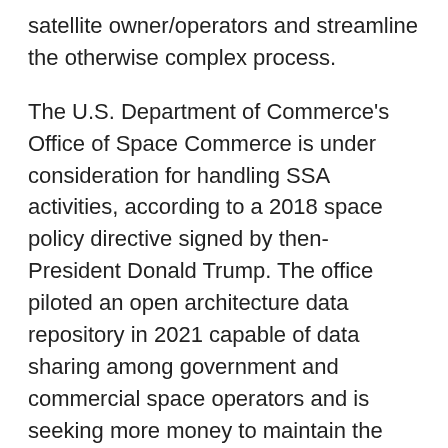satellite owner/operators and streamline the otherwise complex process.
The U.S. Department of Commerce's Office of Space Commerce is under consideration for handling SSA activities, according to a 2018 space policy directive signed by then-President Donald Trump. The office piloted an open architecture data repository in 2021 capable of data sharing among government and commercial space operators and is seeking more money to maintain the program.
Subcommittee Chairman Rep. Don Beyer, D-Virginia, said the federal government needs to move quickly to develop a framework for who handles space traffic management to further mitigate the creation of orbital debris.
“While the U.S. has led the world in actionable SSA services and information, the continuing press of global setting into the